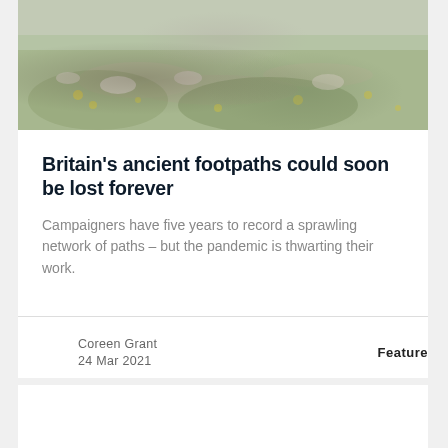[Figure (photo): Aerial or wide-angle landscape photo of British moorland with rocky path, heather, and yellow wildflowers]
Britain's ancient footpaths could soon be lost forever
Campaigners have five years to record a sprawling network of paths – but the pandemic is thwarting their work.
Coreen Grant
24 Mar 2021
Feature